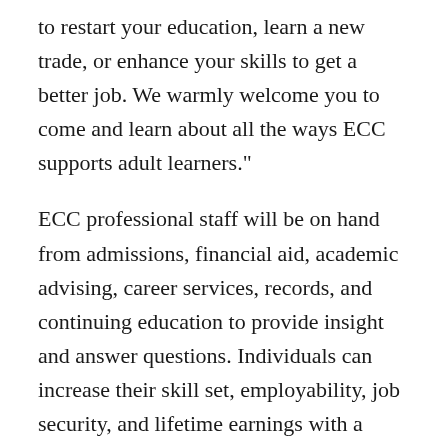to restart your education, learn a new trade, or enhance your skills to get a better job. We warmly welcome you to come and learn about all the ways ECC supports adult learners."
ECC professional staff will be on hand from admissions, financial aid, academic advising, career services, records, and continuing education to provide insight and answer questions. Individuals can increase their skill set, employability, job security, and lifetime earnings with a degree or certificate. Some programs of study offer night or weekend classes to accommodate students who work full time. Area companies may offer tuition reimbursement;